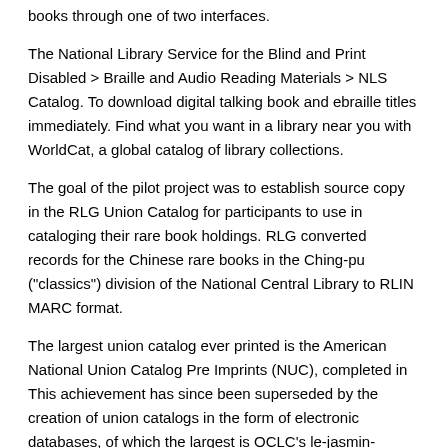books through one of two interfaces.
The National Library Service for the Blind and Print Disabled > Braille and Audio Reading Materials > NLS Catalog. To download digital talking book and ebraille titles immediately. Find what you want in a library near you with WorldCat, a global catalog of library collections.
The goal of the pilot project was to establish source copy in the RLG Union Catalog for participants to use in cataloging their rare book holdings. RLG converted records for the Chinese rare books in the Ching-pu ("classics") division of the National Central Library to RLIN MARC format.
The largest union catalog ever printed is the American National Union Catalog Pre Imprints (NUC), completed in This achievement has since been superseded by the creation of union catalogs in the form of electronic databases, of which the largest is OCLC's le-jasmin-briancon.comity control: BNF: cbr (data).
This series consists of regimental and company record books kept by Union Volunteer units in the field during the Civil War. Included are